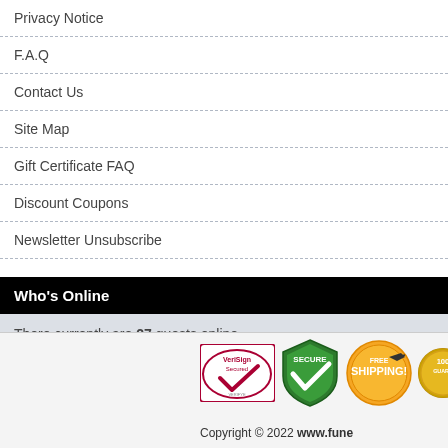Privacy Notice
F.A.Q
Contact Us
Site Map
Gift Certificate FAQ
Discount Coupons
Newsletter Unsubscribe
Who's Online
There currently are 27 guests online.
[Figure (logo): VeriSign Secured badge, Secure shield badge, Free Shipping badge, Satisfaction guarantee badge (partially visible)]
Copyright © 2022 www.fune...